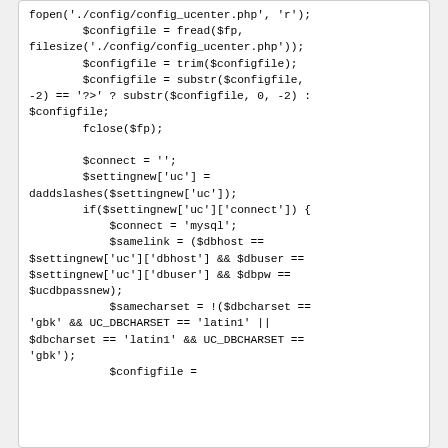[Figure (screenshot): Code snippet showing PHP code with file read, string manipulation, database connection settings and charset checks]